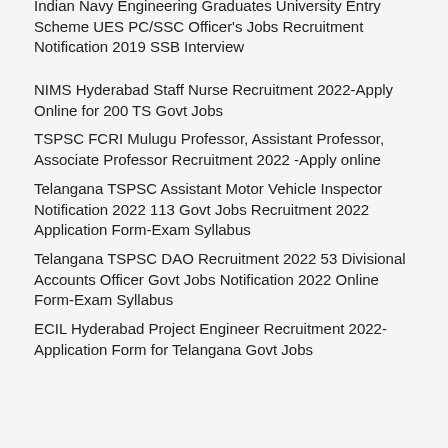Indian Navy Engineering Graduates University Entry Scheme UES PC/SSC Officer's Jobs Recruitment Notification 2019 SSB Interview
NIMS Hyderabad Staff Nurse Recruitment 2022-Apply Online for 200 TS Govt Jobs
TSPSC FCRI Mulugu Professor, Assistant Professor, Associate Professor Recruitment 2022 -Apply online
Telangana TSPSC Assistant Motor Vehicle Inspector Notification 2022 113 Govt Jobs Recruitment 2022 Application Form-Exam Syllabus
Telangana TSPSC DAO Recruitment 2022 53 Divisional Accounts Officer Govt Jobs Notification 2022 Online Form-Exam Syllabus
ECIL Hyderabad Project Engineer Recruitment 2022-Application Form for Telangana Govt Jobs